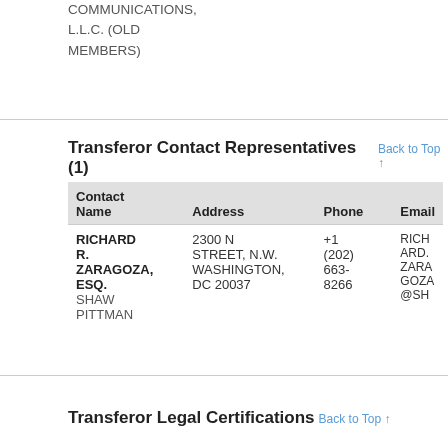COMMUNICATIONS, L.L.C. (OLD MEMBERS)
Transferor Contact Representatives (1)
| Contact Name | Address | Phone | Email |
| --- | --- | --- | --- |
| RICHARD R. ZARAGOZA, ESQ.
SHAW PITTMAN | 2300 N STREET, N.W. WASHINGTON, DC 20037 | +1 (202) 663-8266 | RICHARD.ZARAGOZA@SH |
Transferor Legal Certifications